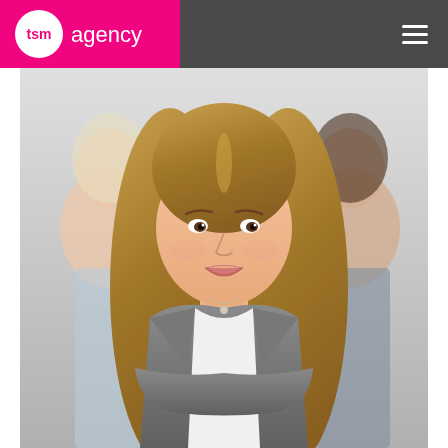[Figure (logo): TSM Agency logo: pink circle with 'tsm' text in white, followed by 'agency' in gray text, on a magenta/pink background block]
[Figure (photo): Three professional women smiling, the central woman in foreground with long blonde hair wearing a gray blazer with arms crossed, two women slightly blurred in background]